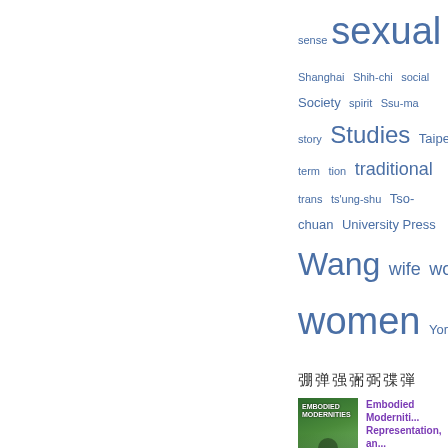[Figure (infographic): Tag cloud of index terms including: sense, sexual (large), Shanghai, Shih-chi, social, Society, spirit, Ssu-ma, story, Studies (large), Taipei, term, tion, traditional, trans, ts'ung-shu, Tso-chuan, University Press, Wang (large), wife, woman, women (very large), York]
書誌情報
[Figure (photo): Book cover of Embodied Modernities - green toned cover with silhouette figure]
Embodied Moderniti... Representation, an... Fran Martin,Larissa... 書誌情報 - 2006
[Figure (photo): Book cover of Embodied Modernities - green toned cover with silhouette figure (second entry)]
Embodied Moderniti... Representation, an... Fran Martin,Larissa...